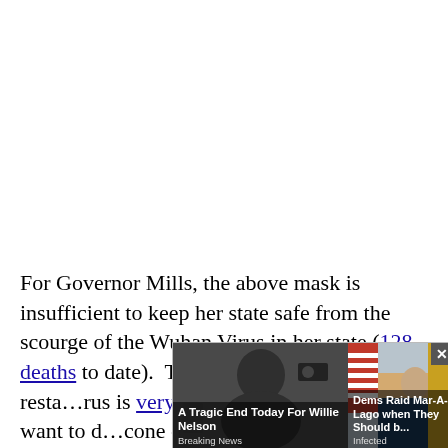For Governor Mills, the above mask is insufficient to keep her state safe from the scourge of the Wuhan Virus in her state (128 deaths to date).  Therefore, her directive for resta…rus is very s…  If you work in t… not want to d… cone of d…
[Figure (screenshot): Overlay ad widget with two news ad cards. Left card: dark photo of elderly man with cameras behind, headline 'A Tragic End Today For Willie Nelson', tag 'Breaking News'. Right card: photo of man in suit at desk with US flags, headline 'Dems Raid Mar-A-Lago when They Should b...', tag 'Infected'. Close button (×) in upper right corner.]